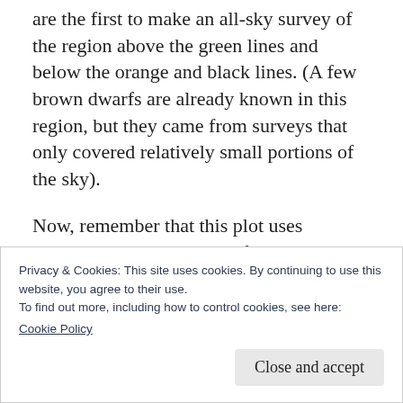are the first to make an all-sky survey of the region above the green lines and below the orange and black lines. (A few brown dwarfs are already known in this region, but they came from surveys that only covered relatively small portions of the sky).
Now, remember that this plot uses logarithmic scales! Each of the big ticks on the x axis is a factor of 10. Each magnitude (the y axis) represents a factor of about 2.512. So that space
Privacy & Cookies: This site uses cookies. By continuing to use this website, you agree to their use.
To find out more, including how to control cookies, see here:
Cookie Policy
Close and accept